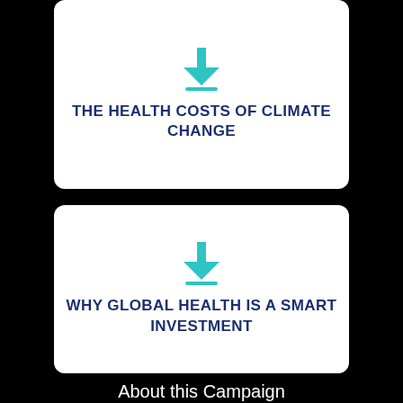[Figure (infographic): White rounded card with a teal download icon (arrow pointing down with a bar beneath it) above the title text]
THE HEALTH COSTS OF CLIMATE CHANGE
[Figure (infographic): White rounded card with a teal download icon (arrow pointing down with a bar beneath it) above the title text]
WHY GLOBAL HEALTH IS A SMART INVESTMENT
About this Campaign
Healthy Futures is a UK movement coordinated and run